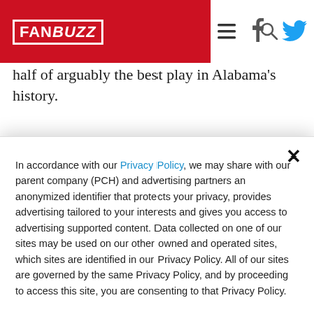FANBUZZ
half of arguably the best play in Alabama's history.
January 8, 2018
CFB National Championship
– Alabama 26, GEORGIA 23.
In accordance with our Privacy Policy, we may share with our parent company (PCH) and advertising partners an anonymized identifier that protects your privacy, provides advertising tailored to your interests and gives you access to advertising supported content. Data collected on one of our sites may be used on our other owned and operated sites, which sites are identified in our Privacy Policy. All of our sites are governed by the same Privacy Policy, and by proceeding to access this site, you are consenting to that Privacy Policy.